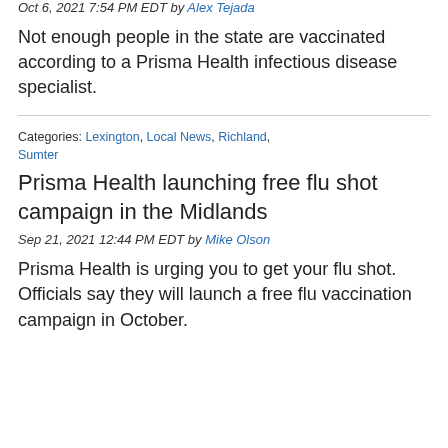Oct 6, 2021 7:54 PM EDT by Alex Tejada
Not enough people in the state are vaccinated according to a Prisma Health infectious disease specialist.
Categories: Lexington, Local News, Richland, Sumter
Prisma Health launching free flu shot campaign in the Midlands
Sep 21, 2021 12:44 PM EDT by Mike Olson
Prisma Health is urging you to get your flu shot. Officials say they will launch a free flu vaccination campaign in October.